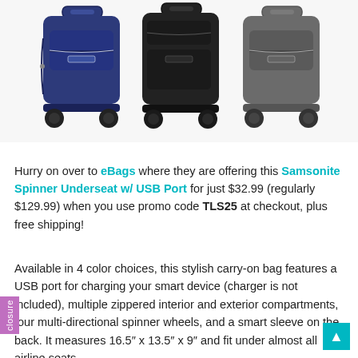[Figure (photo): Three Samsonite Spinner Underseat luggage bags displayed side by side: navy blue (left), black (center), and gray (right), each with four spinner wheels and a top handle, on a white background.]
Hurry on over to eBags where they are offering this Samsonite Spinner Underseat w/ USB Port for just $32.99 (regularly $129.99) when you use promo code TLS25 at checkout, plus free shipping!
Available in 4 color choices, this stylish carry-on bag features a USB port for charging your smart device (charger is not included), multiple zippered interior and exterior compartments, four multi-directional spinner wheels, and a smart sleeve on the back. It measures 16.5″ x 13.5″ x 9″ and fit under almost all airline seats.